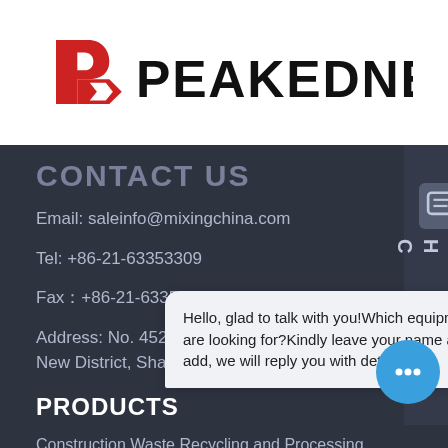[Figure (logo): Peakedness company logo with red arrow/P symbol and bold black PEAKEDNESS text]
CONTACT US
Email: saleinfo@mixingchina.com
Tel: +86-21-63353309
Fax：+86-21-63353309
Address: No. 4529, Kangxin Highway, Pudong New District, Shanghai China
PRODUCTS
Construction Waste Recycling and Processing Equipment
HSR Con…
Mobile I…
Hello, glad to talk with you!Which equipment you are looking for?Kindly leave your name and email add, we will reply you with detail.